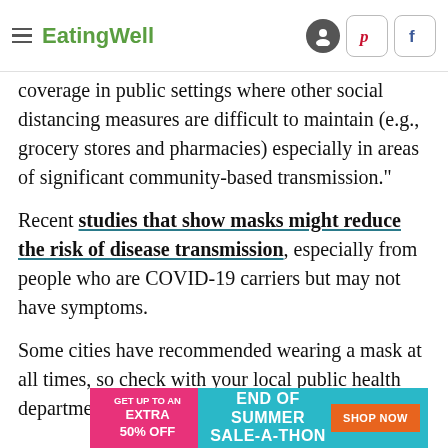EatingWell
coverage in public settings where other social distancing measures are difficult to maintain (e.g., grocery stores and pharmacies) especially in areas of significant community-based transmission."
Recent studies that show masks might reduce the risk of disease transmission, especially from people who are COVID-19 carriers but may not have symptoms.
Some cities have recommended wearing a mask at all times, so check with your local public health department for guidelines in your area.
[Figure (screenshot): Advertisement banner: pink and teal background, text 'GET UP TO AN EXTRA 50% OFF' on left, 'END OF SUMMER SALE-A-THON' in center, orange 'SHOP NOW' button on right]